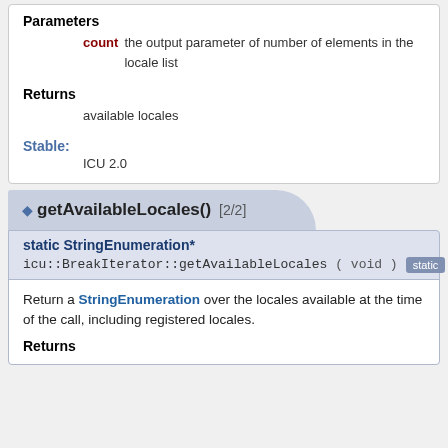Parameters
count the output parameter of number of elements in the locale list
Returns
available locales
Stable:
ICU 2.0
◆ getAvailableLocales() [2/2]
static StringEnumeration* icu::BreakIterator::getAvailableLocales ( void ) static
Return a StringEnumeration over the locales available at the time of the call, including registered locales.
Returns